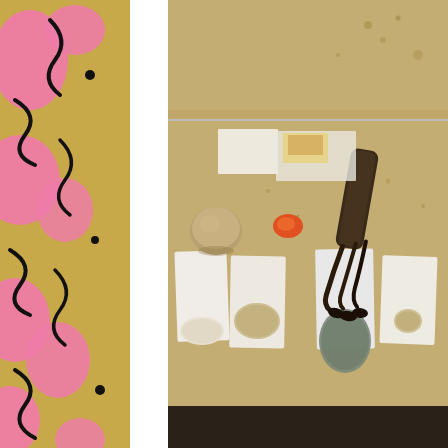[Figure (illustration): Abstract decorative pattern with pink blob shapes and black squiggles on a golden/tan background, occupying the left column of the page.]
[Figure (photo): Top portion of a photo showing a tan/beige desk or table surface viewed from above, partially cut off at the top.]
[Figure (photo): Photo of natural materials laid out on a tan table: a round brown stone/mushroom, small orange object, a dark bark/wood stick brush, and four white paper sheets with samples of different powdered or granular materials (white powder, beige sand, gray-green material, light sand). Papers are arranged in a row on the table surface with materials on top of them.]